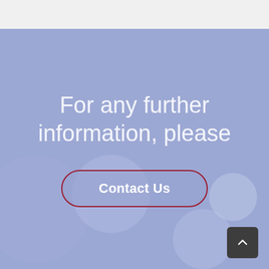[Figure (illustration): Light periwinkle/blue-purple blurred background with circular shapes resembling pills or hands, with a semi-transparent overlay]
For any further information, please
Contact Us